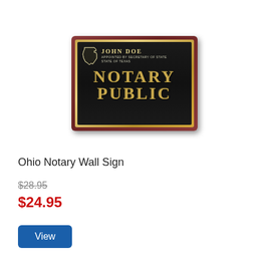[Figure (photo): A wooden wall plaque with a dark black background and gold border. The plaque reads 'JOHN DOE / APPOINTED BY SECRETARY OF STATE / STATE OF TEXAS' at the top with a Texas state outline, and 'NOTARY PUBLIC' in large gold embossed letters below.]
Ohio Notary Wall Sign
$28.95
$24.95
View